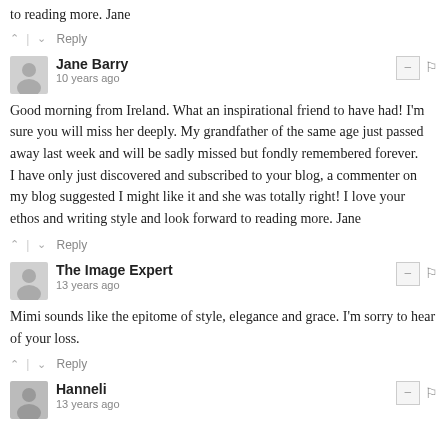to reading more. Jane
^ | v Reply
Jane Barry
10 years ago
Good morning from Ireland. What an inspirational friend to have had! I&#39m sure you will miss her deeply. My grandfather of the same age just passed away last week and will be sadly missed but fondly remembered forever.
I have only just discovered and subscribed to your blog, a commenter on my blog suggested I might like it and she was totally right! I love your ethos and writing style and look forward to reading more. Jane
^ | v Reply
The Image Expert
13 years ago
Mimi sounds like the epitome of style, elegance and grace. I&#39m sorry to hear of your loss.
^ | v Reply
Hanneli
13 years ago